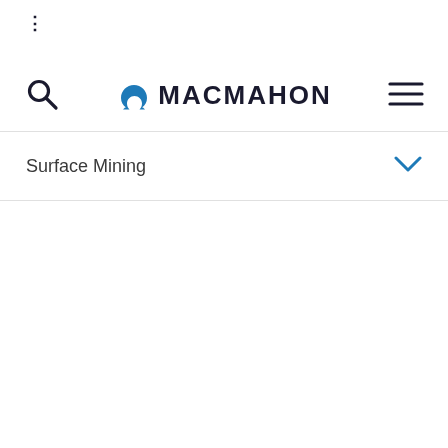:
[Figure (logo): Macmahon logo with omega symbol and company name, flanked by search icon and hamburger menu icon]
Surface Mining